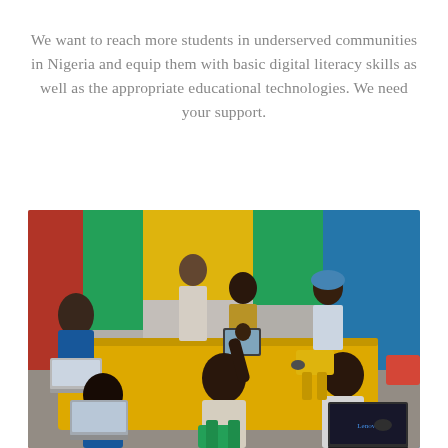We want to reach more students in underserved communities in Nigeria and equip them with basic digital literacy skills as well as the appropriate educational technologies. We need your support.
[Figure (photo): Children sitting around a yellow table in a colorful classroom, using laptops and tablets. One child in the foreground raises their hand. Colorful red, green, yellow, and blue walls are visible in the background. An adult stands in the back. The children appear to be in school uniforms.]